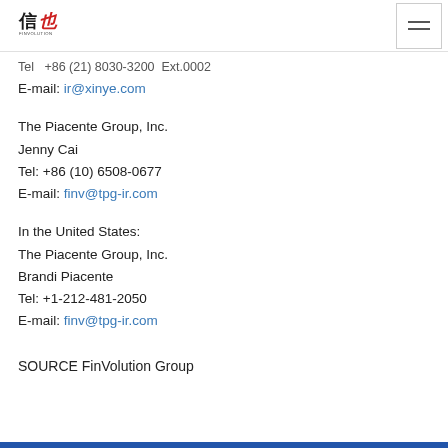FinVolution Group logo and navigation menu
Tel: +86 (21) 8030-3200  Ext.0002
E-mail: ir@xinye.com
The Piacente Group, Inc.
Jenny Cai
Tel: +86 (10) 6508-0677
E-mail: finv@tpg-ir.com
In the United States:
The Piacente Group, Inc.
Brandi Piacente
Tel: +1-212-481-2050
E-mail: finv@tpg-ir.com
SOURCE FinVolution Group